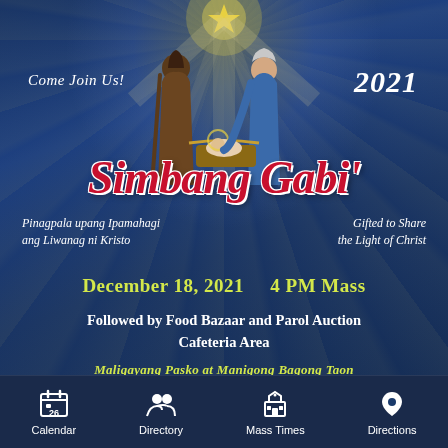[Figure (illustration): Nativity scene illustration showing Joseph, Mary, and baby Jesus in a manger with a star above, set against a blue background with light rays]
Come Join Us!
2021
Simbang Gabi'
Pinagpala upang Ipamahagi ang Liwanag ni Kristo
Gifted to Share the Light of Christ
December 18, 2021        4 PM Mass
Followed by Food Bazaar and Parol Auction
Cafeteria Area
Maligayang Pasko at Manigong Bagong Taon
Calendar   Directory   Mass Times   Directions